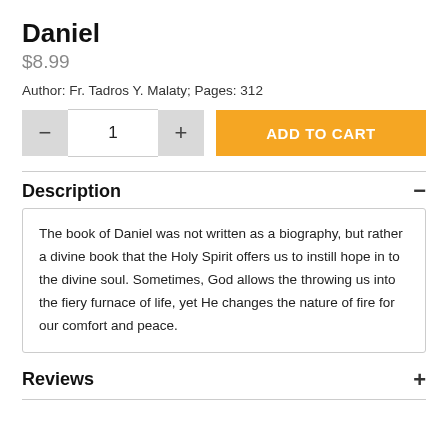Daniel
$8.99
Author: Fr. Tadros Y. Malaty; Pages: 312
— 1 + ADD TO CART
Description
The book of Daniel was not written as a biography, but rather a divine book that the Holy Spirit offers us to instill hope in to the divine soul. Sometimes, God allows the throwing us into the fiery furnace of life, yet He changes the nature of fire for our comfort and peace.
Reviews